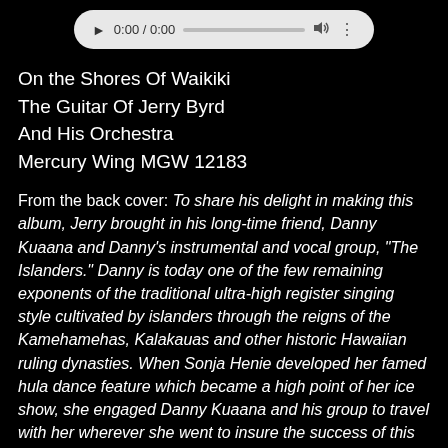[Figure (other): Audio player UI with play button, time display 0:00 / 0:00, progress bar, volume icon, and more options icon on a light gray rounded rectangle background.]
On the Shores Of Waikiki
The Guitar Of Jerry Byrd
And His Orchestra
Mercury Wing MGW 12183
From the back cover: To share his delight in making this album, Jerry brought in his long-time friend, Danny Kuaana and Danny's instrumental and vocal group, "The Islanders." Danny is today one of the few remaining exponents of the traditional ultra-high register singing style cultivated by islanders through the reigns of the Kamehamehas, Kalakauas and other historic Hawaiian ruling dynasties. When Sonja Henie developed her famed hula dance feature which became a high point of her ice show, she engaged Danny Kuaana and his group to travel with her wherever she went to insure the success of this single number.
From Billboard - May 27, 1957 (MG 20230): Packaging, featuring the usual assortment of Island medolies, will find